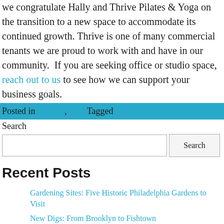we congratulate Hally and Thrive Pilates & Yoga on the transition to a new space to accommodate its continued growth. Thrive is one of many commercial tenants we are proud to work with and have in our community.  If you are seeking office or studio space, reach out to us to see how we can support your business goals.
Posted in , Tagged
Search
Recent Posts
Gardening Sites: Five Historic Philadelphia Gardens to Visit
New Digs: From Brooklyn to Fishtown
Renting Guide: How to Find The Perfect Rental in